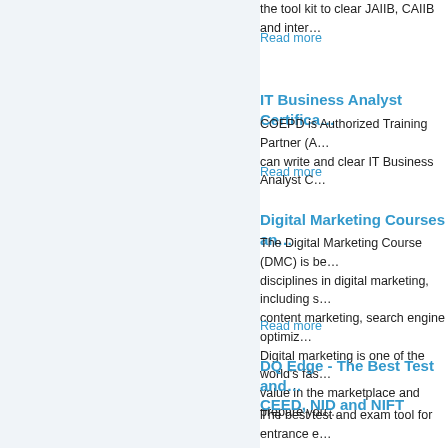the tool kit to clear JAIIB, CAIIB and inter...
Read more
IT Business Analyst Certifica...
COEPD is Authorized Training Partner (A... can write and clear IT Business Analyst C...
Read more
Digital Marketing Courses an...
The Digital Marketing Course (DMC) is be... disciplines in digital marketing, including s... content marketing, search engine optimiz... Digital marketing is one of the world's fas... value in the marketplace and prepare you...
Read more
DQ Edge - The Best Test and CEED, NID and NIFT
The best test and exam tool for entrance e... all Design, Architecture and Fashion aspi... study tool, tests and strong content. Also,... colleges.
Read more